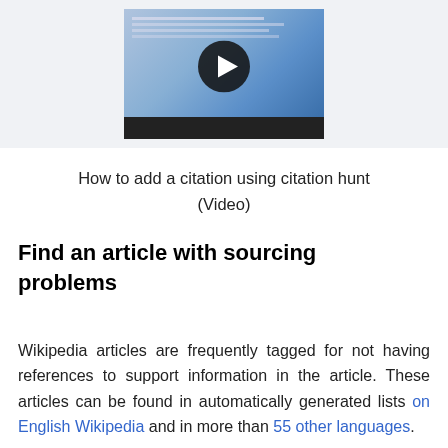[Figure (screenshot): Video thumbnail showing a Wikipedia page with a play button overlay and black video progress bar at the bottom]
How to add a citation using citation hunt (Video)
Find an article with sourcing problems
Wikipedia articles are frequently tagged for not having references to support information in the article. These articles can be found in automatically generated lists on English Wikipedia and in more than 55 other languages.